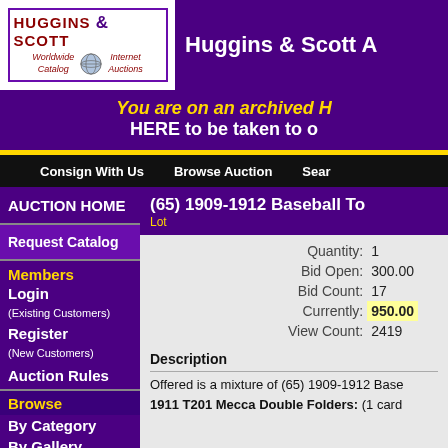[Figure (logo): Huggins & Scott logo with globe, 'Worldwide Catalog' and 'Internet Auctions' text]
Huggins & Scott A
You are on an archived H
HERE to be taken to o
Consign With Us   Browse Auction   Sear
(65) 1909-1912 Baseball To
Lot
| Field | Value |
| --- | --- |
| Quantity: | 1 |
| Bid Open: | 300.00 |
| Bid Count: | 17 |
| Currently: | 950.00 |
| View Count: | 2419 |
Description
Offered is a mixture of (65) 1909-1912 Base
1911 T201 Mecca Double Folders: (1 card
AUCTION HOME
Request Catalog
Members
Login (Existing Customers)
Register (New Customers)
Auction Rules
Browse
By Category
By Gallery